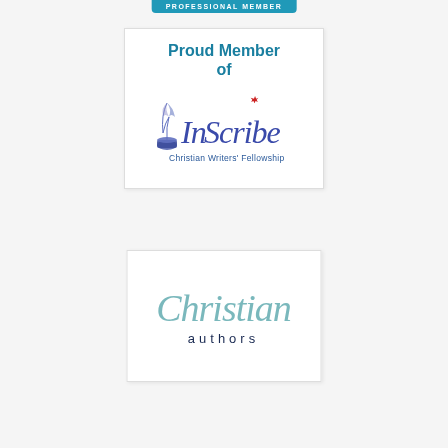[Figure (logo): Teal 'PROFESSIONAL MEMBER' badge/banner at top of page]
[Figure (logo): White card with 'Proud Member of InScribe Christian Writers' Fellowship' logo. Blue bold text 'Proud Member of' above the InScribe script logo (feather quill with ink pot, cursive InScribe text with Canadian maple leaf, and 'Christian Writers' Fellowship' subtitle).]
[Figure (logo): White card with 'Christian authors' logo — 'Christian' in large teal cursive script, 'authors' in small dark navy spaced sans-serif letters below.]